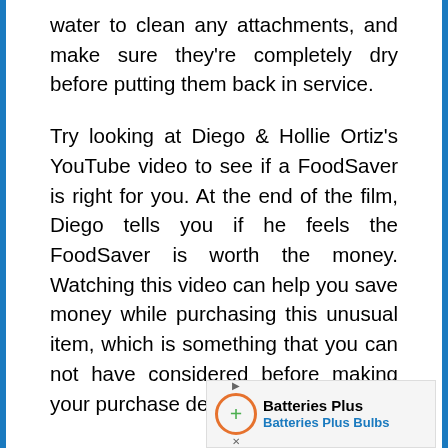water to clean any attachments, and make sure they're completely dry before putting them back in service.
Try looking at Diego & Hollie Ortiz's YouTube video to see if a FoodSaver is right for you. At the end of the film, Diego tells you if he feels the FoodSaver is worth the money. Watching this video can help you save money while purchasing this unusual item, which is something that you can not have considered before making your purchase decision.
[Figure (other): Advertisement banner for Batteries Plus Bulbs showing logo icon with orange circle and green plus sign, brand name 'Batteries Plus' in bold, and tagline 'Batteries Plus Bulbs' in blue]